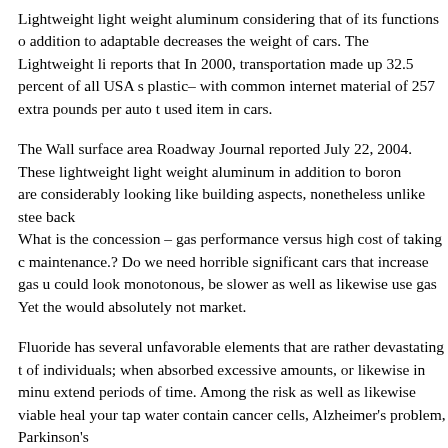Lightweight light weight aluminum considering that of its functions o addition to adaptable decreases the weight of cars. The Lightweight li reports that In 2000, transportation made up 32.5 percent of all USA s plastic– with common internet material of 257 extra pounds per auto t used item in cars.
The Wall surface area Roadway Journal reported July 22, 2004. These lightweight light weight aluminum in addition to boron are considerably looking like building aspects, nonetheless unlike stee back What is the concession – gas performance versus high cost of taking c maintenance.? Do we need horrible significant cars that increase gas u could look monotonous, be slower as well as likewise use gas Yet the would absolutely not market.
Fluoride has several unfavorable elements that are rather devastating t of individuals; when absorbed excessive amounts, or likewise in minu extend periods of time. Among the risk as well as likewise viable heal your tap water contain cancer cells, Alzheimer's problem, Parkinson's